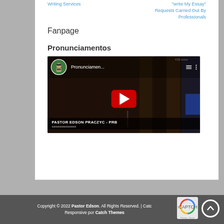Writing Services
“write My Essay” Requests Carried Out By Professionals
Fanpage
Pronunciamentos
[Figure (screenshot): YouTube video thumbnail showing a man speaking at a podium, with YouTube player controls. Title reads 'Pronunciamen...' with a circular avatar of a bearded man in green shirt. Red play button centered.]
Copyright © 2022 Pastor Edson. All Rights Reserved. | Catch Responsive por Catch Themes